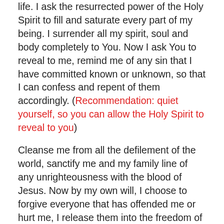life.  I ask the resurrected power of the Holy Spirit to fill and saturate every part of my being.   I surrender all my spirit, soul and body completely to You.  Now I ask You to reveal to me, remind me of any sin that I have committed known or unknown, so that I can confess and repent of them accordingly. (Recommendation:  quiet yourself, so you can allow the Holy Spirit to reveal to you)
Cleanse me from all the defilement of the world, sanctify me and my family line of any unrighteousness with the blood of Jesus.   Now by my own will, I choose to forgive everyone that has offended me or hurt me, I release them into the freedom of my forgiveness.   I also release them from the debts they might owe me. I now cast all my burden to You .  Your yoke is easy, Your burden is light.   I now put on the armor of God that You have given me, gird myself with the belt of truth, the breastplate of righteousness, the helmet of salvation, the shield of faith, the sword of the Spirit, my feet fitted with the gospel of peace, so that I can pray and intercede in the Holy